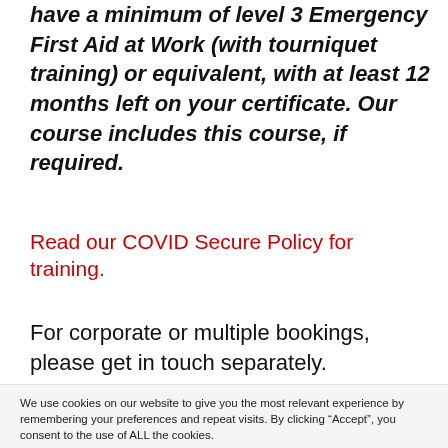have a minimum of level 3 Emergency First Aid at Work (with tourniquet training) or equivalent, with at least 12 months left on your certificate. Our course includes this course, if required.
Read our COVID Secure Policy for training.
For corporate or multiple bookings, please get in touch separately.
We use cookies on our website to give you the most relevant experience by remembering your preferences and repeat visits. By clicking “Accept”, you consent to the use of ALL the cookies.
Cookie settings
ACCEPT